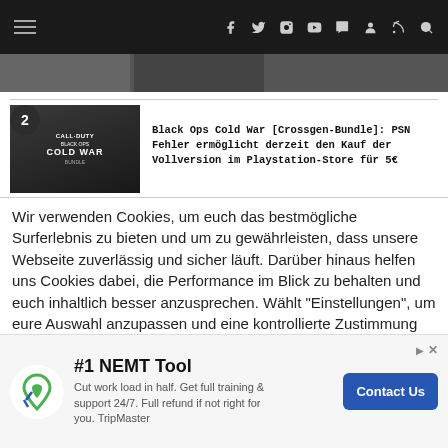Navigation bar with hamburger menu and social icons
[Figure (screenshot): Partial article thumbnail strip showing two image blocks]
Black Ops Cold War [Crossgen-Bundle]: PSN Fehler ermöglicht derzeit den Kauf der Vollversion im Playstation-Store für 5€
Wir verwenden Cookies, um euch das bestmögliche Surferlebnis zu bieten und um zu gewährleisten, dass unsere Webseite zuverlässig und sicher läuft. Darüber hinaus helfen uns Cookies dabei, die Performance im Blick zu behalten und euch inhaltlich besser anzusprechen. Wählt "Einstellungen", um eure Auswahl anzupassen und eine kontrollierte Zustimmung zu len oder "Alle Akzeptieren", um der Verwendung von
[Figure (infographic): Advertisement banner: TripMaster #1 NEMT Tool — Cut work load in half. Get full training & support 24/7. Full refund if not right for you. TripMaster. Contact Us button.]